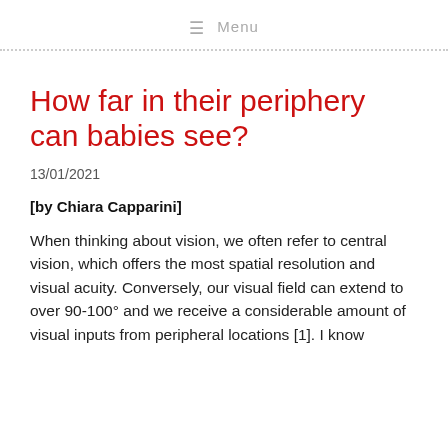≡ Menu
How far in their periphery can babies see?
13/01/2021
[by Chiara Capparini]
When thinking about vision, we often refer to central vision, which offers the most spatial resolution and visual acuity. Conversely, our visual field can extend to over 90-100° and we receive a considerable amount of visual inputs from peripheral locations [1]. I know